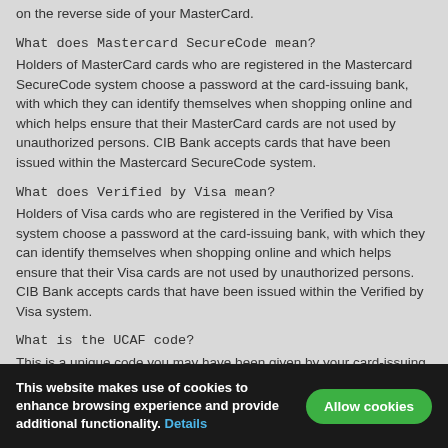on the reverse side of your MasterCard.
What does Mastercard SecureCode mean?
Holders of MasterCard cards who are registered in the Mastercard SecureCode system choose a password at the card-issuing bank, with which they can identify themselves when shopping online and which helps ensure that their MasterCard cards are not used by unauthorized persons. CIB Bank accepts cards that have been issued within the Mastercard SecureCode system.
What does Verified by Visa mean?
Holders of Visa cards who are registered in the Verified by Visa system choose a password at the card-issuing bank, with which they can identify themselves when shopping online and which helps ensure that their Visa cards are not used by unauthorized persons. CIB Bank accepts cards that have been issued within the Verified by Visa system.
What is the UCAF code?
This is a unique code you may have been given by your card-issuing bank in the course of a MasterCard If you did not receive a
This website makes use of cookies to enhance browsing experience and provide additional functionality. Details